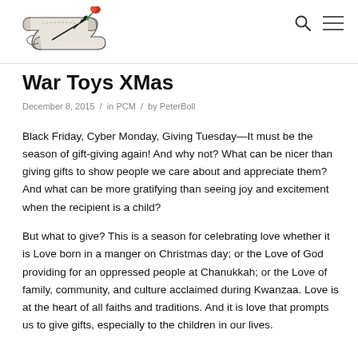Logo / site header with search and menu icons
War Toys XMas
December 8, 2015 / in PCM / by PeterBoll
Black Friday, Cyber Monday, Giving Tuesday—It must be the season of gift-giving again! And why not? What can be nicer than giving gifts to show people we care about and appreciate them? And what can be more gratifying than seeing joy and excitement when the recipient is a child?
But what to give? This is a season for celebrating love whether it is Love born in a manger on Christmas day; or the Love of God providing for an oppressed people at Chanukkah; or the Love of family, community, and culture acclaimed during Kwanzaa. Love is at the heart of all faiths and traditions. And it is love that prompts us to give gifts, especially to the children in our lives.